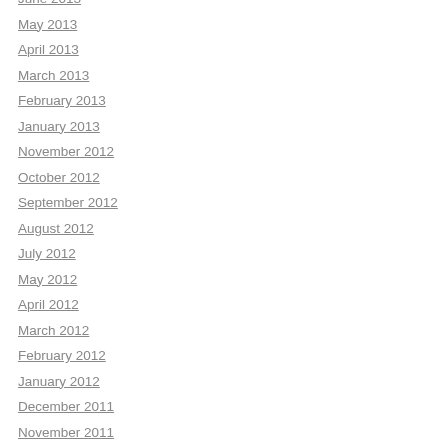June 2013
May 2013
April 2013
March 2013
February 2013
January 2013
November 2012
October 2012
September 2012
August 2012
July 2012
May 2012
April 2012
March 2012
February 2012
January 2012
December 2011
November 2011
October 2011
September 2011
August 2011